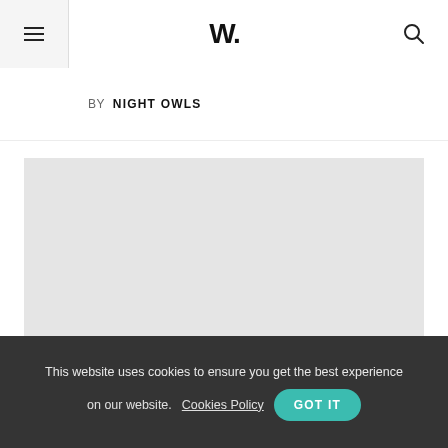W.
BY NIGHT OWLS
[Figure (other): Gray placeholder image area]
This website uses cookies to ensure you get the best experience on our website. Cookies Policy GOT IT